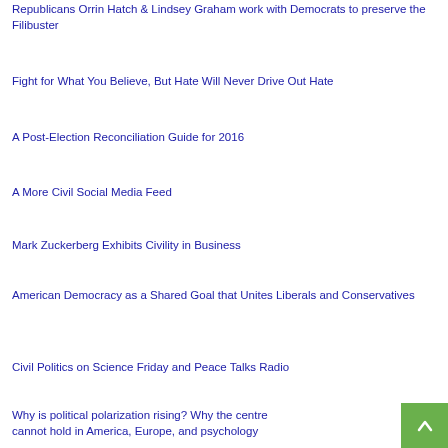Republicans Orrin Hatch & Lindsey Graham work with Democrats to preserve the Filibuster
Fight for What You Believe, But Hate Will Never Drive Out Hate
A Post-Election Reconciliation Guide for 2016
A More Civil Social Media Feed
Mark Zuckerberg Exhibits Civility in Business
American Democracy as a Shared Goal that Unites Liberals and Conservatives
Civil Politics on Science Friday and Peace Talks Radio
Why is political polarization rising? Why the centre cannot hold in America, Europe, and psychology